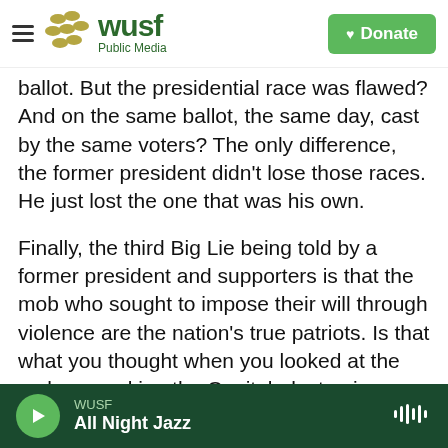WUSF Public Media | Donate
ballot. But the presidential race was flawed? And on the same ballot, the same day, cast by the same voters? The only difference, the former president didn't lose those races. He just lost the one that was his own.
Finally, the third Big Lie being told by a former president and supporters is that the mob who sought to impose their will through violence are the nation's true patriots. Is that what you thought when you looked at the mob ransacking the Capitol, destroying property, literally defecating in the hallways? Rifling through the desks of senators
WUSF | All Night Jazz